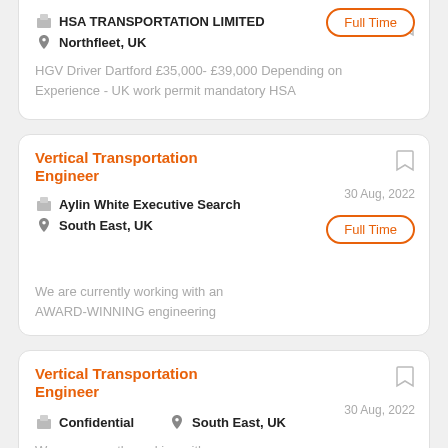HSA TRANSPORTATION LIMITED
Northfleet, UK
Full Time
HGV Driver Dartford £35,000- £39,000 Depending on Experience - UK work permit mandatory HSA
Vertical Transportation Engineer
Aylin White Executive Search
South East, UK
30 Aug, 2022
Full Time
We are currently working with an AWARD-WINNING engineering
Vertical Transportation Engineer
Confidential
South East, UK
30 Aug, 2022
Full Time
We are currently working with an AWARD-WINNING engineering